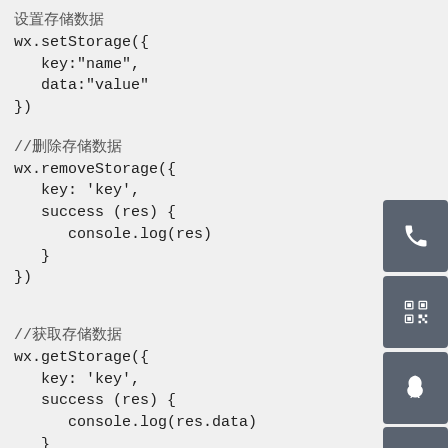设置存储数据
wx.setStorage({
  key:"name",
  data:"value"
})
//删除存储数据
wx.removeStorage({
  key: 'key',
  success (res) {
    console.log(res)
  }
})
//获取存储数据
wx.getStorage({
  key: 'key',
  success (res) {
    console.log(res.data)
  }
})
[Figure (infographic): Sidebar with phone icon button, QR code icon button, Penguin (QQ) icon button, and TOP (scroll to top) button, all with dark gray background]